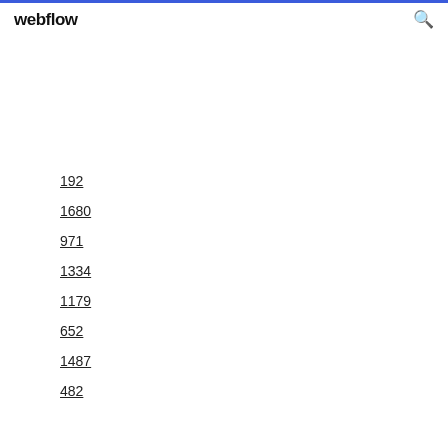webflow
192
1680
971
1334
1179
652
1487
482